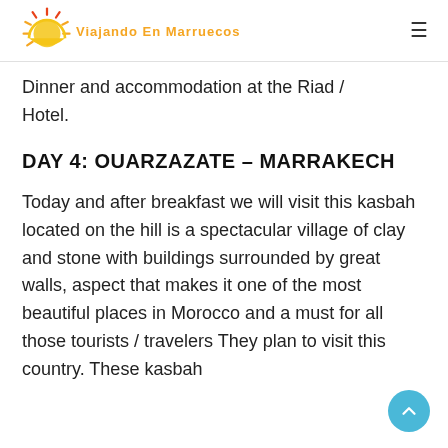Viajando En Marruecos
Dinner and accommodation at the Riad / Hotel.
DAY 4: OUARZAZATE – MARRAKECH
Today and after breakfast we will visit this kasbah located on the hill is a spectacular village of clay and stone with buildings surrounded by great walls, aspect that makes it one of the most beautiful places in Morocco and a must for all those tourists / travelers They plan to visit this country. These kasbah